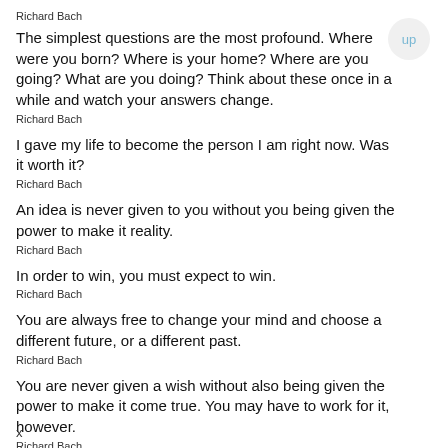Richard Bach
The simplest questions are the most profound. Where were you born? Where is your home? Where are you going? What are you doing? Think about these once in a while and watch your answers change.
Richard Bach
I gave my life to become the person I am right now. Was it worth it?
Richard Bach
An idea is never given to you without you being given the power to make it reality.
Richard Bach
In order to win, you must expect to win.
Richard Bach
You are always free to change your mind and choose a different future, or a different past.
Richard Bach
You are never given a wish without also being given the power to make it come true. You may have to work for it, however.
Richard Bach